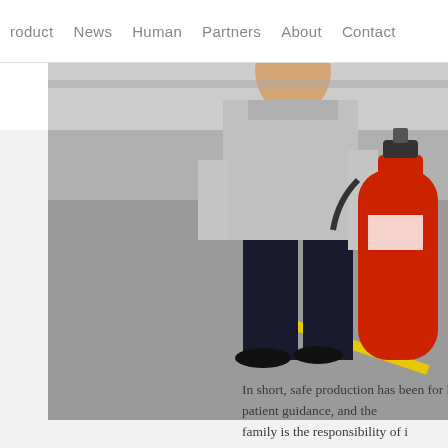roduct   News   Human   Partners   About   Contact
[Figure (photo): A person in dark trousers and grey shirt carrying a large red fire extinguisher, walking on a grey paved surface with a yellow painted line visible.]
In short, safe production has be... for his patient guidance, and th... family is the responsibility of i...